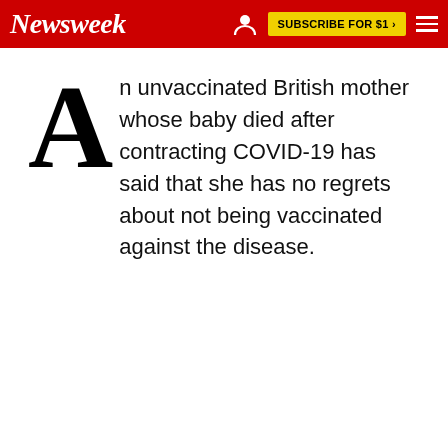Newsweek — SUBSCRIBE FOR $1 >
An unvaccinated British mother whose baby died after contracting COVID-19 has said that she has no regrets about not being vaccinated against the disease.